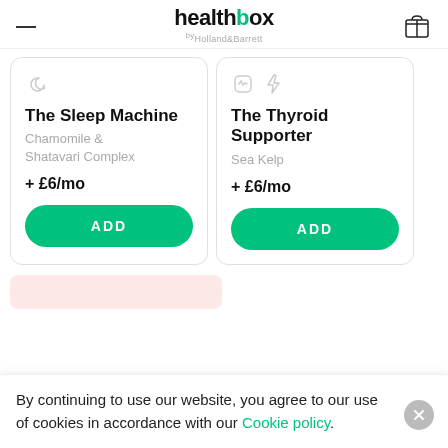healthbox by Holland & Barrett
The Sleep Machine
Chamomile & Shatavari Complex
+ £6/mo
The Thyroid Supporter
Sea Kelp
+ £6/mo
By continuing to use our website, you agree to our use of cookies in accordance with our Cookie policy.